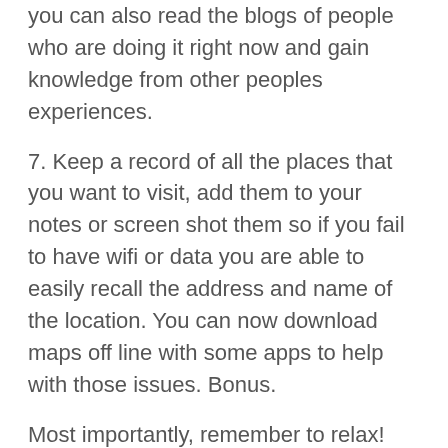you can also read the blogs of people who are doing it right now and gain knowledge from other peoples experiences.
7. Keep a record of all the places that you want to visit, add them to your notes or screen shot them so if you fail to have wifi or data you are able to easily recall the address and name of the location. You can now download maps off line with some apps to help with those issues. Bonus.
Most importantly, remember to relax! Having an alternate lifestyle and diet does not have to be stressful. We can't